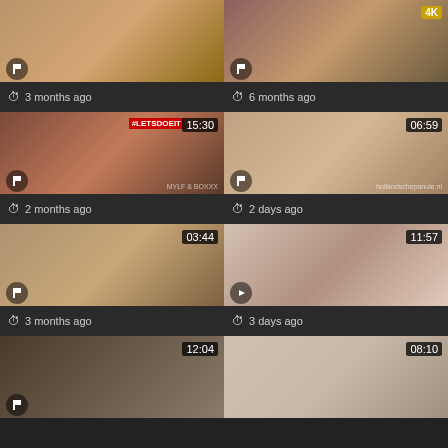[Figure (screenshot): Video thumbnail grid showing 8 video cards in 2 columns. Row 1: card 1 with '3 months ago', card 2 with '6 months ago' and 4K badge. Row 2: card 3 with duration 15:30 and '#LETSDOEIT' label, '2 months ago', card 4 with duration 06:59, '2 days ago'. Row 3: card 5 with duration 03:44, '3 months ago', card 6 with duration 11:57, '3 days ago'. Row 4 (partial): card 7 with duration 12:04, card 8 with duration 08:10.]